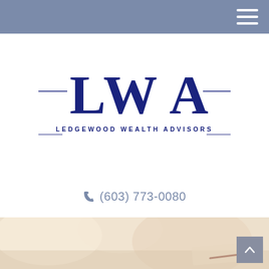Navigation bar with hamburger menu
[Figure (logo): Ledgewood Wealth Advisors logo with LWA monogram letters and full company name below]
(603) 773-0080
[Figure (photo): Blurred background image of an office desk with papers, warm beige/cream tones]
Back to top button